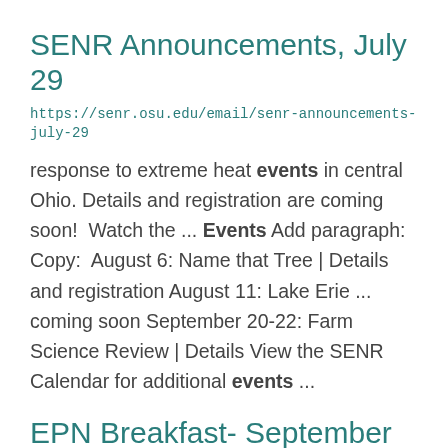SENR Announcements, July 29
https://senr.osu.edu/email/senr-announcements-july-29
response to extreme heat events in central Ohio. Details and registration are coming soon!  Watch the ... Events Add paragraph:  Copy:  August 6: Name that Tree | Details and registration August 11: Lake Erie ... coming soon September 20-22: Farm Science Review | Details View the SENR Calendar for additional events ...
EPN Breakfast- September 13, 2022: Advancing environmental